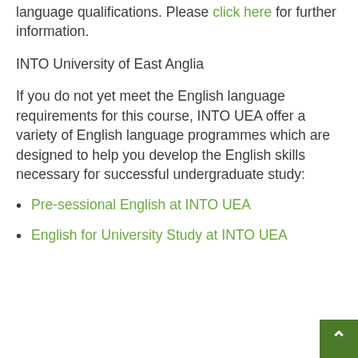language qualifications. Please click here for further information.
INTO University of East Anglia
If you do not yet meet the English language requirements for this course, INTO UEA offer a variety of English language programmes which are designed to help you develop the English skills necessary for successful undergraduate study:
Pre-sessional English at INTO UEA
English for University Study at INTO UEA